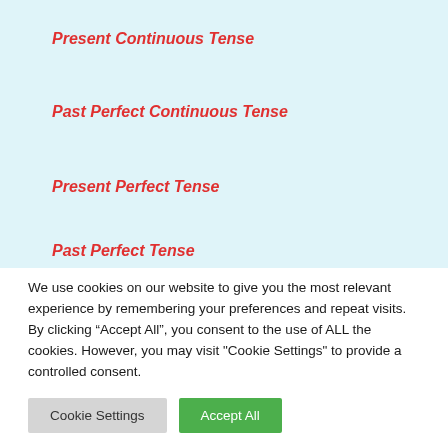Present Continuous Tense
Past Perfect Continuous Tense
Present Perfect Tense
Past Perfect Tense
We use cookies on our website to give you the most relevant experience by remembering your preferences and repeat visits. By clicking “Accept All”, you consent to the use of ALL the cookies. However, you may visit "Cookie Settings" to provide a controlled consent.
Cookie Settings
Accept All